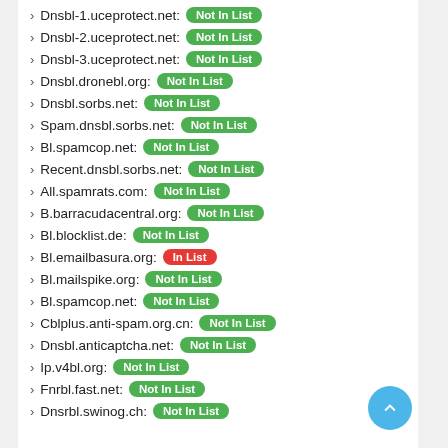Dnsbl-1.uceprotect.net: Not In List
Dnsbl-2.uceprotect.net: Not In List
Dnsbl-3.uceprotect.net: Not In List
Dnsbl.dronebl.org: Not In List
Dnsbl.sorbs.net: Not In List
Spam.dnsbl.sorbs.net: Not In List
Bl.spamcop.net: Not In List
Recent.dnsbl.sorbs.net: Not In List
All.spamrats.com: Not In List
B.barracudacentral.org: Not In List
Bl.blocklist.de: Not In List
Bl.emailbasura.org: In List
Bl.mailspike.org: Not In List
Bl.spamcop.net: Not In List
Cblplus.anti-spam.org.cn: Not In List
Dnsbl.anticaptcha.net: Not In List
Ip.v4bl.org: Not In List
Fnrbl.fast.net: Not In List
Dnsrbl.swinog.ch: Not In List